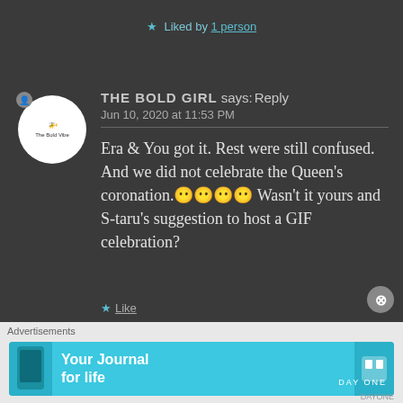★ Liked by 1 person
THE BOLD GIRL says: Reply
Jun 10, 2020 at 11:53 PM
Era & You got it. Rest were still confused. And we did not celebrate the Queen's coronation.😶😶😶😶 Wasn't it yours and S-taru's suggestion to host a GIF celebration?
★ Like
Advertisements
Your Journal for life  DAY ONE